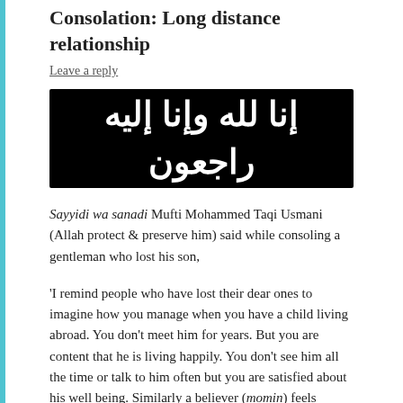Consolation: Long distance relationship
Leave a reply
[Figure (other): Black banner with white Arabic text reading: إنا لله وإنا إليه راجعون (Inna lillahi wa inna ilayhi raji'un)]
Sayyidi wa sanadi Mufti Mohammed Taqi Usmani (Allah protect & preserve him) said while consoling a gentleman who lost his son,
'I remind people who have lost their dear ones to imagine how you manage when you have a child living abroad. You don't meet him for years. But you are content that he is living happily. You don't see him all the time or talk to him often but you are satisfied about his well being. Similarly a believer (momin) feels